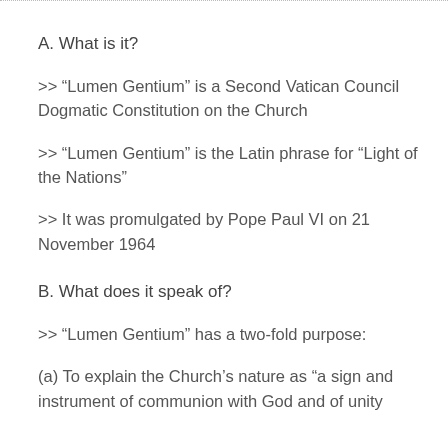A. What is it?
>> “Lumen Gentium” is a Second Vatican Council Dogmatic Constitution on the Church
>> “Lumen Gentium” is the Latin phrase for “Light of the Nations”
>> It was promulgated by Pope Paul VI on 21 November 1964
B. What does it speak of?
>> “Lumen Gentium” has a two-fold purpose:
(a) To explain the Church’s nature as “a sign and instrument of communion with God and of unity…